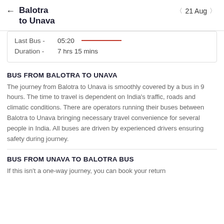Balotra to Unava | 21 Aug
Last Bus - 05:20   Duration - 7 hrs 15 mins
BUS FROM BALOTRA TO UNAVA
The journey from Balotra to Unava is smoothly covered by a bus in 9 hours. The time to travel is dependent on India's traffic, roads and climatic conditions. There are operators running their buses between Balotra to Unava bringing necessary travel convenience for several people in India. All buses are driven by experienced drivers ensuring safety during journey.
BUS FROM UNAVA TO BALOTRA BUS
If this isn't a one-way journey, you can book your return